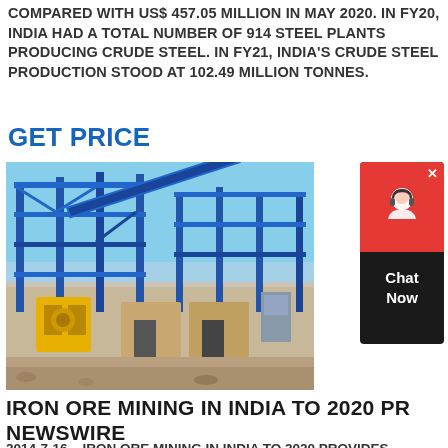COMPARED WITH US$ 457.05 MILLION IN MAY 2020. IN FY20, INDIA HAD A TOTAL NUMBER OF 914 STEEL PLANTS PRODUCING CRUDE STEEL. IN FY21, INDIA'S CRUDE STEEL PRODUCTION STOOD AT 102.49 MILLION TONNES.
GET PRICE
[Figure (photo): Industrial mining or steel plant with blue steel frame structures, yellow machinery, conveyor belts, and construction equipment on a dusty site under blue sky.]
[Figure (other): Red and black chat widget with headset/support icon and 'Chat Now' text]
IRON ORE MINING IN INDIA TO 2020 PR NEWSWIRE
2014-7-16   IRON ORE MINING IN INDIA TO 2020 PROVIDES HISTORICAL AND FORECAST DATA ON IRON ORE PRODUCTION (AND ALSO BY FORM), RESERVES